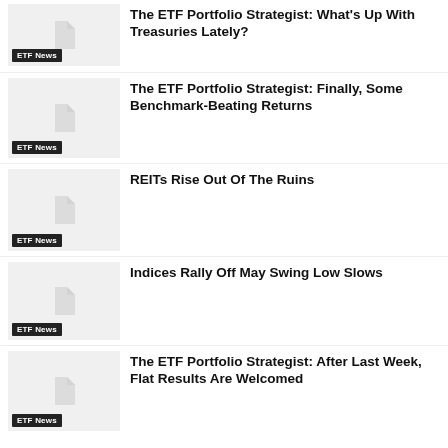[Figure (illustration): Thumbnail image placeholder with ETF News tag]
The ETF Portfolio Strategist: What's Up With Treasuries Lately?
[Figure (illustration): Thumbnail image placeholder with ETF News tag]
The ETF Portfolio Strategist: Finally, Some Benchmark-Beating Returns
[Figure (illustration): Thumbnail image placeholder with ETF News tag]
REITs Rise Out Of The Ruins
[Figure (illustration): Thumbnail image placeholder with ETF News tag]
Indices Rally Off May Swing Low Slows
[Figure (illustration): Thumbnail image placeholder with ETF News tag]
The ETF Portfolio Strategist: After Last Week, Flat Results Are Welcomed